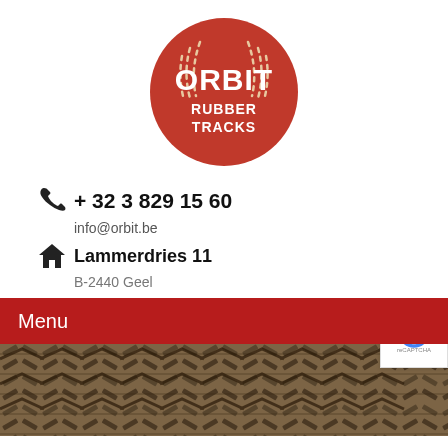[Figure (logo): Orbit Rubber Tracks circular red logo with white text ORBIT RUBBER TRACKS and decorative stitch pattern]
+ 32 3 829 15 60
info@orbit.be
Lammerdries 11
B-2440 Geel
Menu
[Figure (photo): Close-up photo of rubber track tread pattern pressed into sand/mud]
Using Huge Dog House